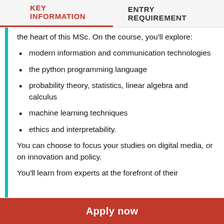KEY INFORMATION   ENTRY REQUIREMENT
the heart of this MSc. On the course, you'll explore:
modern information and communication technologies
the python programming language
probability theory, statistics, linear algebra and calculus
machine learning techniques
ethics and interpretability.
You can choose to focus your studies on digital media, or on innovation and policy.
You'll learn from experts at the forefront of their
Apply now